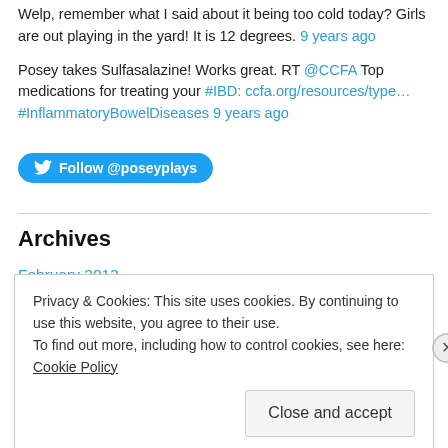Welp, remember what I said about it being too cold today? Girls are out playing in the yard! It is 12 degrees. 9 years ago
Posey takes Sulfasalazine! Works great. RT @CCFA Top medications for treating your #IBD: ccfa.org/resources/type… #InflammatoryBowelDiseases 9 years ago
[Figure (other): Twitter Follow button for @poseyplays]
Archives
February 2013
January 2013
Privacy & Cookies: This site uses cookies. By continuing to use this website, you agree to their use. To find out more, including how to control cookies, see here: Cookie Policy
Close and accept